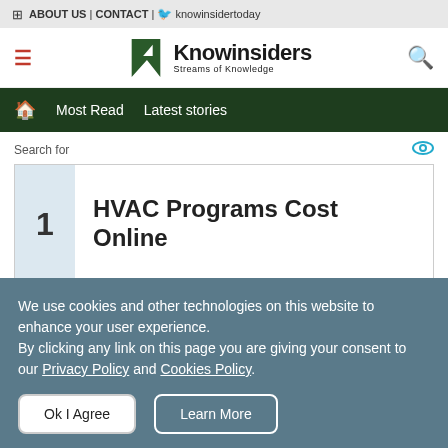ABOUT US | CONTACT | knowinsidertoday
[Figure (logo): Knowinsiders logo with K icon and tagline 'Streams of Knowledge']
Most Read  Latest stories
Search for
1   HVAC Programs Cost Online
We use cookies and other technologies on this website to enhance your user experience. By clicking any link on this page you are giving your consent to our Privacy Policy and Cookies Policy.
Ok I Agree   Learn More